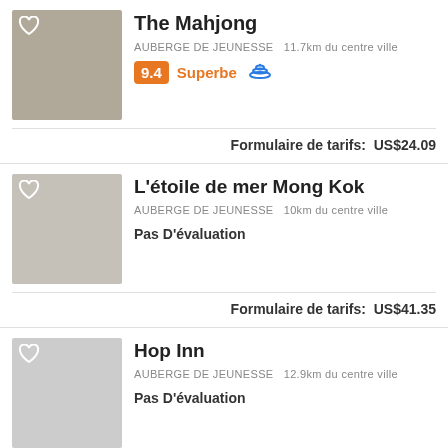The Mahjong
AUBERGE DE JEUNESSE   11.7km du centre ville
9.4  Superbe
Formulaire de tarifs:  US$24.09
L'étoile de mer Mong Kok
AUBERGE DE JEUNESSE   10km du centre ville
Pas D'évaluation
Formulaire de tarifs:  US$41.35
Hop Inn
AUBERGE DE JEUNESSE   12.9km du centre ville
Pas D'évaluation
Formulaire de tarifs:  US$20.65
Ah Shan Hostel Hong Kong